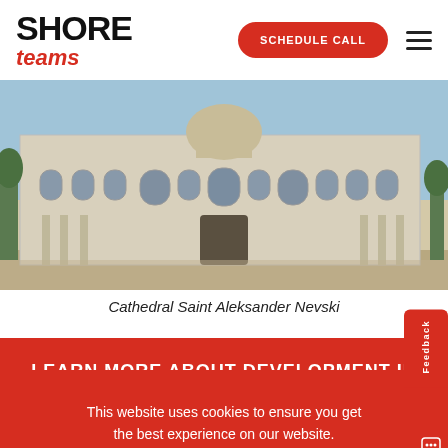[Figure (logo): SHORE teams logo with SHORE in bold black and 'teams' in italic red below]
SCHEDULE CALL
[Figure (photo): Cathedral Saint Aleksander Nevski, a large ornate building with arches, photographed from the street]
Cathedral Saint Aleksander Nevski
LEARN MORE ABOUT DEVELOPMENT IN BULGARIA
This website uses cookies to ensure you get the best experience on our website. By continuing to browse on this website, you accept the use of cookies for the above purposes.
I UNDERSTAND